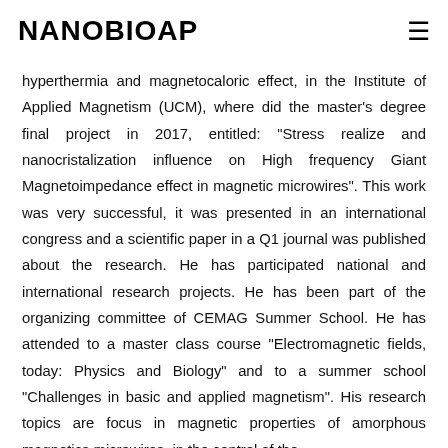NANOBIOAP
this, Alex is also doing a thesis that will be about the control of the microwires nanostructure and its application in hyperthermia and magnetocaloric effect, in the Institute of Applied Magnetism (UCM), where did the master’s degree final project in 2017, entitled: “Stress realize and nanocristalization influence on High frequency Giant Magnetoimpedance effect in magnetic microwires”. This work was very successful, it was presented in an international congress and a scientific paper in a Q1 journal was published about the research. He has participated national and international research projects. He has been part of the organizing committee of CEMAG Summer School. He has attended to a master class course “Electromagnetic fields, today: Physics and Biology” and to a summer school “Challenges in basic and applied magnetism”. His research topics are focus in magnetic properties of amorphous magnetics microwires, in the control of the